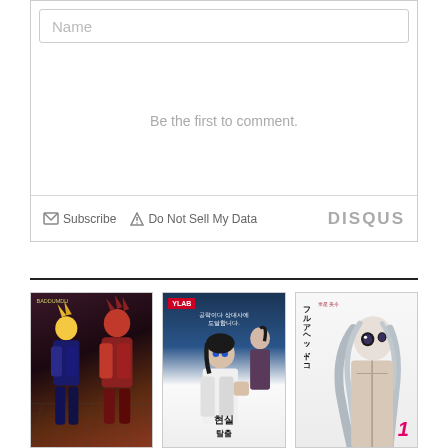[Figure (screenshot): Disqus comment box interface with Name input field, 'Be the first to comment.' placeholder text, Subscribe and Do Not Sell My Data footer links, and DISQUS branding]
[Figure (illustration): Three manga/manhwa book covers in a row. First: action scene with two characters. Second: Korean manhwa with YLAB badge showing characters in an office/action setting with Korean text. Third: Japanese manga with vertical title text フルアヘッド!ゴ and a character with long hair.]